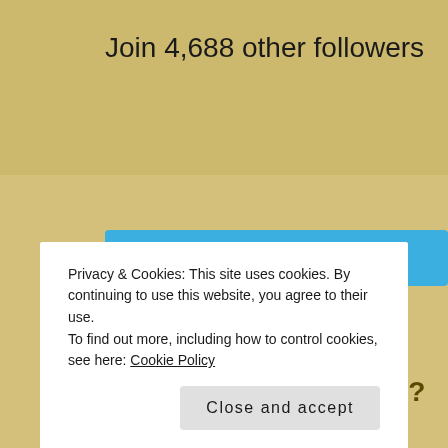Join 4,688 other followers
[Figure (other): Follow Second Wind Leisure Perspectives button with WordPress icon]
Looking for something? Type and PRESS ENTER.
Privacy & Cookies: This site uses cookies. By continuing to use this website, you agree to their use.
To find out more, including how to control cookies, see here: Cookie Policy
Close and accept